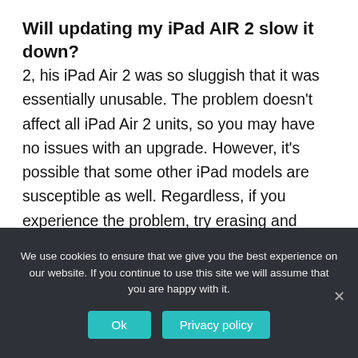Will updating my iPad AIR 2 slow it down?
2, his iPad Air 2 was so sluggish that it was essentially unusable. The problem doesn't affect all iPad Air 2 units, so you may have no issues with an upgrade. However, it's possible that some other iPad models are susceptible as well. Regardless, if you experience the problem, try erasing and restoring from backup.
We use cookies to ensure that we give you the best experience on our website. If you continue to use this site we will assume that you are happy with it.
Ok
Privacy policy